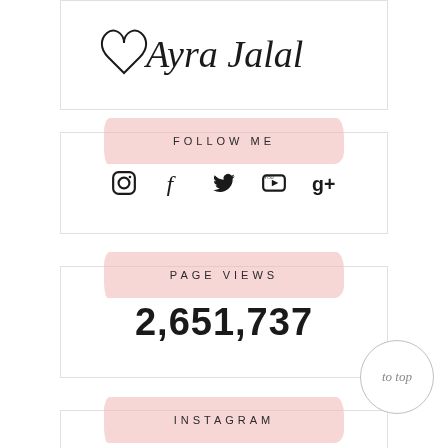[Figure (illustration): Cursive handwritten signature reading 'Ayra Jalal' with a heart symbol]
FOLLOW ME
[Figure (infographic): Social media icons: Instagram camera, Facebook f, Twitter bird, YouTube play button, Google Plus g+]
PAGE VIEWS
2,651,737
to top
INSTAGRAM